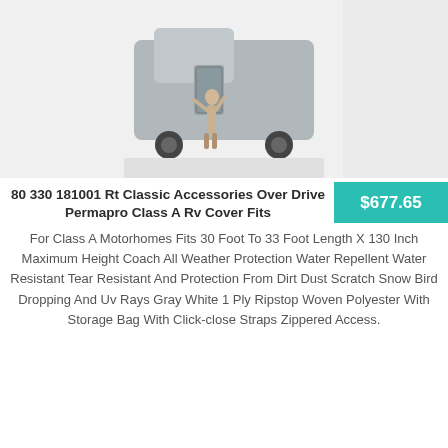[Figure (photo): Product photo of a gray RV cover draped over a Class A motorhome, with a person standing next to it for scale.]
80 330 181001 Rt Classic Accessories Over Drive Permapro Class A Rv Cover Fits
$677.65
For Class A Motorhomes Fits 30 Foot To 33 Foot Length X 130 Inch Maximum Height Coach All Weather Protection Water Repellent Water Resistant Tear Resistant And Protection From Dirt Dust Scratch Snow Bird Dropping And Uv Rays Gray White 1 Ply Ripstop Woven Polyester With Storage Bag With Click-close Straps Zippered Access.